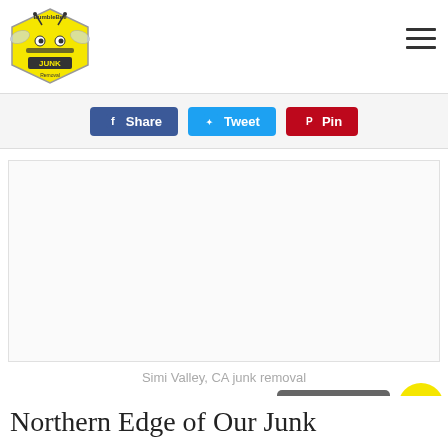[Figure (logo): BumbleBee Junk Removal logo — yellow hexagon bee icon with 'BumbleBee JUNK Removal' text]
[Figure (other): Hamburger menu icon (three horizontal lines) in top right corner]
[Figure (other): Social share buttons: Facebook Share (blue), Twitter Tweet (light blue), Pinterest Pin (red)]
[Figure (photo): Large white/light gray image placeholder for Simi Valley CA junk removal photo]
Simi Valley, CA junk removal
[Figure (other): Dark gray 'Click to call!' button and yellow circular phone icon button]
Northern Edge of Our Junk